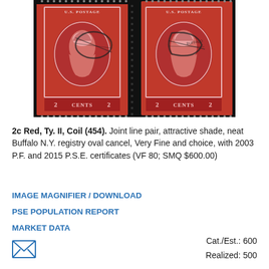[Figure (photo): Two US postage stamps, 2 cents red, Washington portrait, joined as a coil pair with joint line in the middle, canceled with Buffalo N.Y. registry oval cancel]
2c Red, Ty. II, Coil (454). Joint line pair, attractive shade, neat Buffalo N.Y. registry oval cancel, Very Fine and choice, with 2003 P.F. and 2015 P.S.E. certificates (VF 80; SMQ $600.00)
IMAGE MAGNIFIER / DOWNLOAD
PSE POPULATION REPORT
MARKET DATA
[Figure (illustration): Envelope/email icon (letter symbol)]
Cat./Est.: 600
Realized: 500